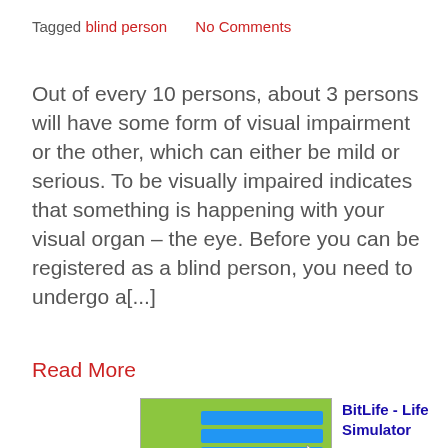Tagged blind person    No Comments
Out of every 10 persons, about 3 persons will have some form of visual impairment or the other, which can either be mild or serious. To be visually impaired indicates that something is happening with your visual organ – the eye. Before you can be registered as a blind person, you need to undergo a[...]
Read More
[Figure (screenshot): BitLife - Life Simulator app advertisement image showing a game screenshot with green background, blue menu buttons, a red Childhood bar, and the BitLife logo at the bottom.]
BitLife - Life Simulator
Ad